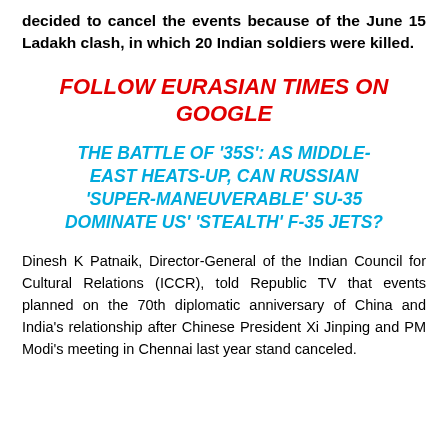decided to cancel the events because of the June 15 Ladakh clash, in which 20 Indian soldiers were killed.
FOLLOW EURASIAN TIMES ON GOOGLE
THE BATTLE OF '35S': AS MIDDLE-EAST HEATS-UP, CAN RUSSIAN 'SUPER-MANEUVERABLE' SU-35 DOMINATE US' 'STEALTH' F-35 JETS?
Dinesh K Patnaik, Director-General of the Indian Council for Cultural Relations (ICCR), told Republic TV that events planned on the 70th diplomatic anniversary of China and India's relationship after Chinese President Xi Jinping and PM Modi's meeting in Chennai last year stand canceled.